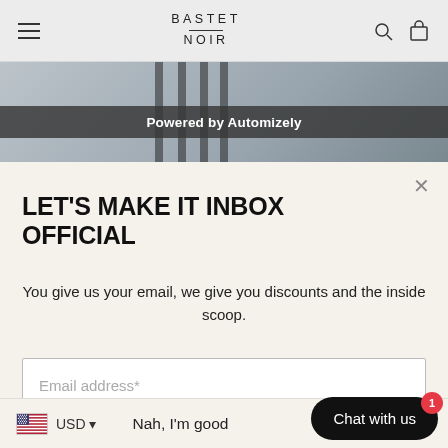BASTET NOIR
[Figure (screenshot): Website banner strip with gray background showing partial fashion photo]
Powered by Automizely
LET'S MAKE IT INBOX OFFICIAL
You give us your email, we give you discounts and the inside scoop.
Email address*
Let's seal the deal
Nah, I'm good
USD
Chat with us